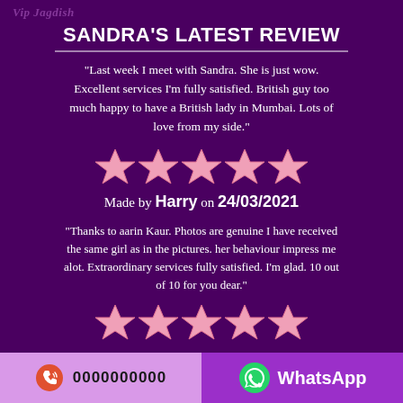Vip Jagdish
SANDRA'S LATEST REVIEW
"Last week I meet with Sandra. She is just wow. Excellent services I'm fully satisfied. British guy too much happy to have a British lady in Mumbai. Lots of love from my side."
[Figure (other): 5 pink stars rating]
Made by Harry on 24/03/2021
"Thanks to aarin Kaur. Photos are genuine I have received the same girl as in the pictures. her behaviour impress me alot. Extraordinary services fully satisfied. I'm glad. 10 out of 10 for you dear."
[Figure (other): 5 pink stars rating]
0000000000   WhatsApp